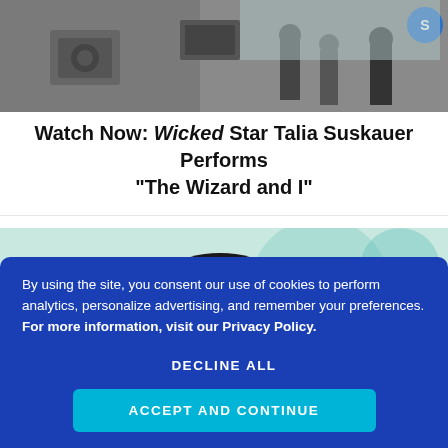[Figure (photo): Outdoor scene with people, equipment/speakers, and a blue logo watermark in the corner]
Watch Now: Wicked Star Talia Suskauer Performs “The Wizard and I”
[Figure (photo): Close-up portrait of a young woman with dark hair, wearing black, smiling slightly, blurred teal/blue background]
By using the site, you consent our use of cookies to perform analytics, personalize advertising, and remember your preferences. For more information, visit our Privacy Policy.
DECLINE ALL
ACCEPT AND CONTINUE